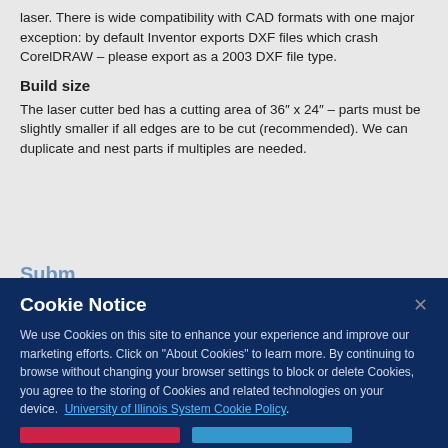laser. There is wide compatibility with CAD formats with one major exception: by default Inventor exports DXF files which crash CorelDRAW – please export as a 2003 DXF file type.
Build size
The laser cutter bed has a cutting area of 36" x 24" – parts must be slightly smaller if all edges are to be cut (recommended). We can duplicate and nest parts if multiples are needed.
Cookie Notice
We use Cookies on this site to enhance your experience and improve our marketing efforts. Click on "About Cookies" to learn more. By continuing to browse without changing your browser settings to block or delete Cookies, you agree to the storing of Cookies and related technologies on your device.  University of Illinois System Cookie Policy.